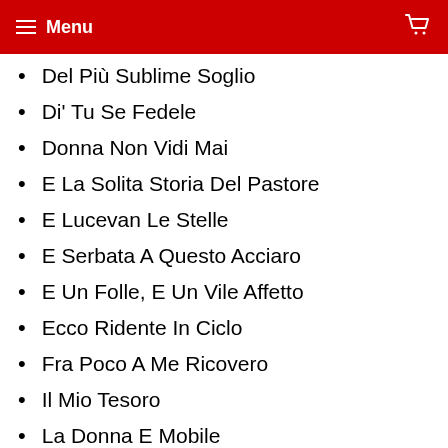Menu
Del Più Sublime Soglio
Di' Tu Se Fedele
Donna Non Vidi Mai
E La Solita Storia Del Pastore
E Lucevan Le Stelle
E Serbata A Questo Acciaro
E Un Folle, E Un Vile Affetto
Ecco Ridente In Ciclo
Fra Poco A Me Ricovero
Il Mio Tesoro
La Donna E Mobile